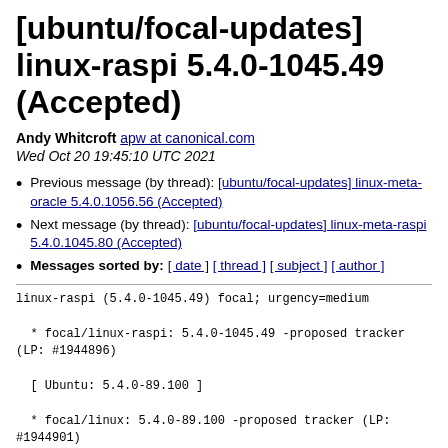[ubuntu/focal-updates] linux-raspi 5.4.0-1045.49 (Accepted)
Andy Whitcroft apw at canonical.com
Wed Oct 20 19:45:10 UTC 2021
Previous message (by thread): [ubuntu/focal-updates] linux-meta-oracle 5.4.0.1056.56 (Accepted)
Next message (by thread): [ubuntu/focal-updates] linux-meta-raspi 5.4.0.1045.80 (Accepted)
Messages sorted by: [ date ] [ thread ] [ subject ] [ author ]
linux-raspi (5.4.0-1045.49) focal; urgency=medium

  * focal/linux-raspi: 5.4.0-1045.49 -proposed tracker
(LP: #1944896)

  [ Ubuntu: 5.4.0-89.100 ]

  * focal/linux: 5.4.0-89.100 -proposed tracker (LP:
#1944901)
  * Packaging resync (LP: #1786013)
    - debian/dkms-versions -- update from kernel-
versions (main(2021.09.27)